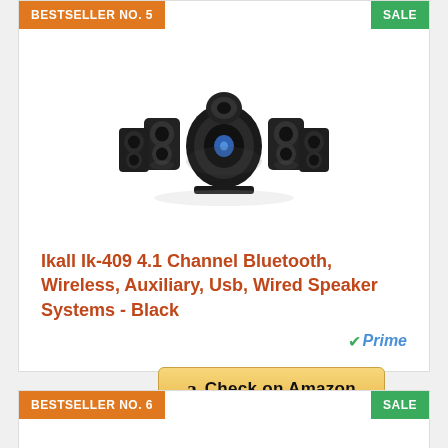BESTSELLER NO. 5
SALE
[Figure (photo): Black 4.1 channel speaker system with subwoofer and four satellite speakers, reflection visible below]
Ikall Ik-409 4.1 Channel Bluetooth, Wireless, Auxiliary, Usb, Wired Speaker Systems - Black
Prime
Check on Amazon
BESTSELLER NO. 6
SALE